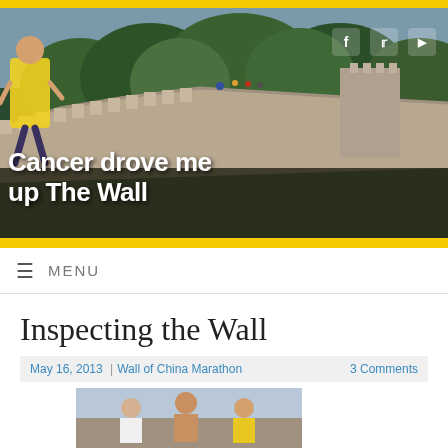[Figure (photo): Website header banner showing the Great Wall of China with a runner in yellow shirt on the left, and text overlay reading 'Cancer drove me up The Wall'. Social media icons (Facebook, Twitter, YouTube) visible top right. Yellow horizontal bars above and below.]
≡  MENU
Inspecting the Wall
May 16, 2013  |Wall of China Marathon    3 Comments
[Figure (photo): Three men posing on the Great Wall of China; center man is shirtless, left person wears white, right person wears yellow shirt.]